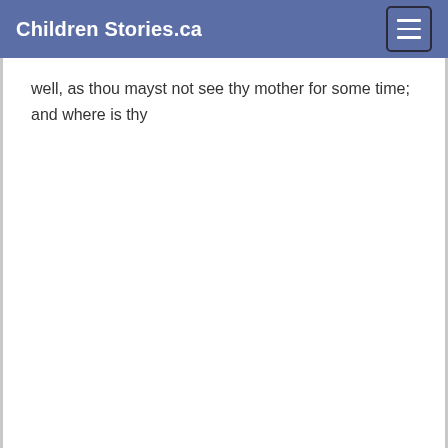Children Stories.ca
well, as thou mayst not see thy mother for some time; and where is thy